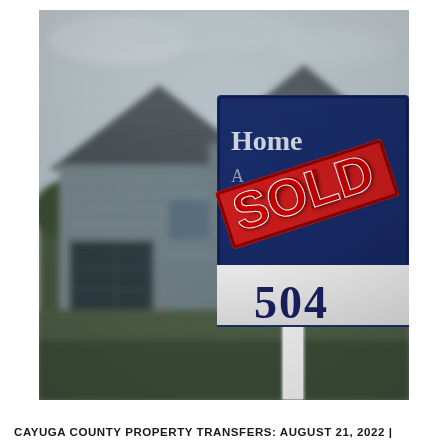[Figure (photo): Close-up photograph of a 'Home Sold' real estate sign with a red diagonal 'SOLD' stamp across it, showing the number 504, with blurry suburban houses in the background on an overcast day.]
CAYUGA COUNTY PROPERTY TRANSFERS: AUGUST 21, 2022 |